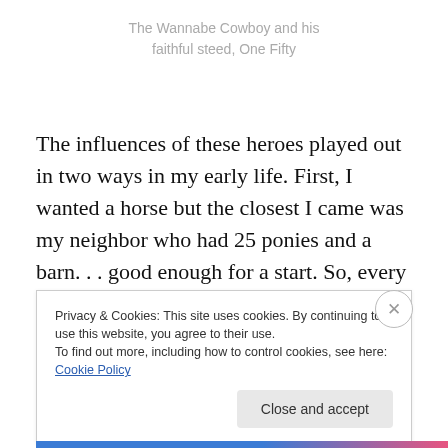The Wannabe Cowboy and his faithful steed, One Fifty
The influences of these heroes played out in two ways in my early life. First, I wanted a horse but the closest I came was my neighbor who had 25 ponies and a barn. . . good enough for a start. So, every evening, I would help feed these ponies. Often, I, along with other friends, would lead
Privacy & Cookies: This site uses cookies. By continuing to use this website, you agree to their use.
To find out more, including how to control cookies, see here: Cookie Policy
Close and accept